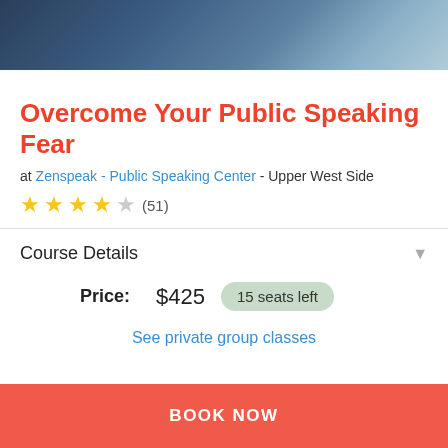[Figure (photo): Top photo strip showing a person in a blue shirt, blurred background, classroom or presentation setting]
Overcome Your Public Speaking Fear
at Zenspeak - Public Speaking Center - Upper West Side
★★★★☆ (51)
Course Details
Price: $425  15 seats left
See private group classes
BOOK NOW